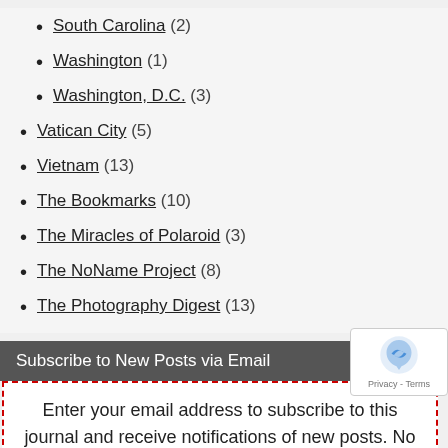South Carolina (2)
Washington (1)
Washington, D.C. (3)
Vatican City (5)
Vietnam (13)
The Bookmarks (10)
The Miracles of Polaroid (3)
The NoName Project (8)
The Photography Digest (13)
Subscribe to New Posts via Email
Enter your email address to subscribe to this journal and receive notifications of new posts. No new content, no email for you!